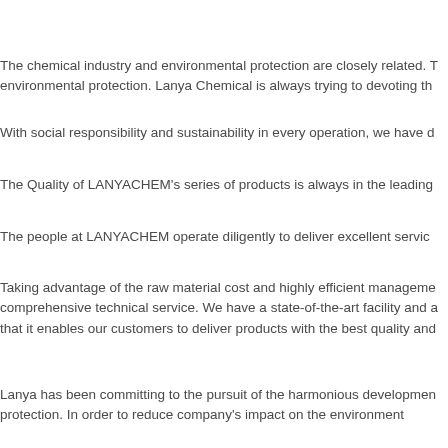The chemical industry and environmental protection are closely related. The chemical industry affects environmental protection. Lanya Chemical is always trying to devoting th...
With social responsibility and sustainability in every operation, we have d...
The Quality of LANYACHEM's series of products is always in the leading...
The people at LANYACHEM operate diligently to deliver excellent servic...
Taking advantage of the raw material cost and highly efficient manageme... comprehensive technical service. We have a state-of-the-art facility and a... that it enables our customers to deliver products with the best quality and...
Lanya has been committing to the pursuit of the harmonious developmen... protection. In order to reduce company's impact on the environment...